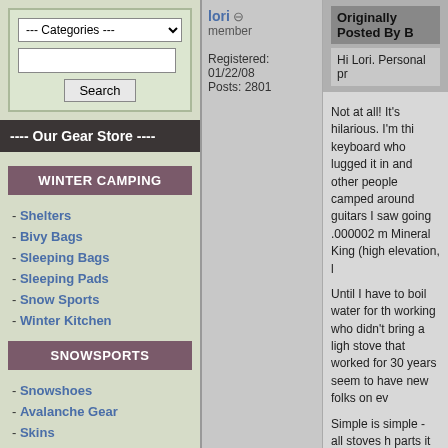--- Categories ---
Search
---- Our Gear Store ----
WINTER CAMPING
Shelters
Bivy Bags
Sleeping Bags
Sleeping Pads
Snow Sports
Winter Kitchen
SNOWSPORTS
Snowshoes
Avalanche Gear
Skins
Hats, Gloves, & Gaiters
Accessories
lori
member
Registered: 01/22/08
Posts: 2801
Originally Posted By B
Hi Lori. Personal pr
Not at all! It's hilarious. I'm thi keyboard who lugged it in and other people camped around  guitars I saw going .000002 m Mineral King (high elevation, l
Until I have to boil water for th working who didn't bring a ligh stove that worked for 30 years seem to have new folks on ev
Simple is simple - all stoves h parts it has, the more I like it. overnight trips. Just mentionin hike out to fix things...
It is of course what you want t white gas die-hards in my imm (without exception) a 3 oz sto Some things can be that simp hiked with now have nice light way of evolving.
"In the beginner's mind there